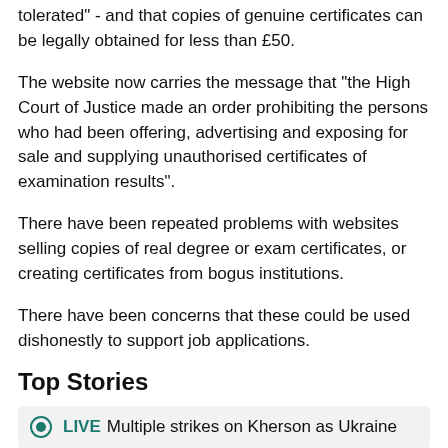tolerated" - and that copies of genuine certificates can be legally obtained for less than £50.
The website now carries the message that "the High Court of Justice made an order prohibiting the persons who had been offering, advertising and exposing for sale and supplying unauthorised certificates of examination results".
There have been repeated problems with websites selling copies of real degree or exam certificates, or creating certificates from bogus institutions.
There have been concerns that these could be used dishonestly to support job applications.
Top Stories
LIVE Multiple strikes on Kherson as Ukraine